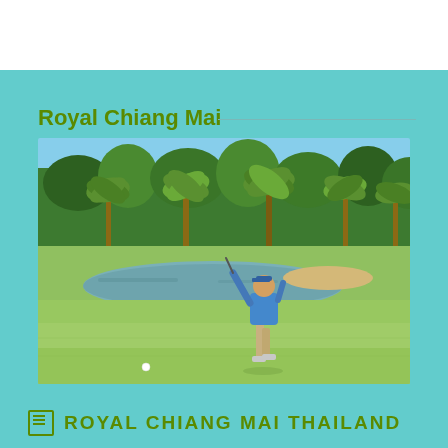Royal Chiang Mai
[Figure (photo): A golfer in a blue shirt and khaki shorts completing a golf swing on a lush green fairway at Royal Chiang Mai golf course, with palm trees, a pond, and tropical vegetation in the background.]
ROYAL CHIANG MAI THAILAND